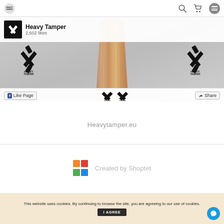[Figure (screenshot): Navigation bar with Heavy Tamper logo, search icon, cart icon, and menu icon]
[Figure (screenshot): Facebook page embed showing Heavy Tamper page with 2,602 likes, logo, tamper image, Like Page button, Share button]
Heavytamper.eu
[Figure (logo): Shoptet logo (colored squares) with 'Created by Shoptet' text]
Copyright 2022 HEAVY TAMPER. All rights reserved.
This website uses cookies. By continuing to browse the site, you are agreeing to our use of cookies.
I AGREE